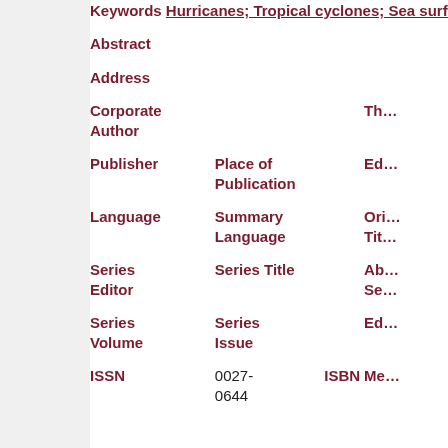Keywords Hurricanes; Tropical cyclones; Sea surface...
| Field | Value |  | Field |
| --- | --- | --- | --- |
| Abstract |  |  |  |
| Address |  |  |  |
| Corporate Author |  |  | Th... |
| Publisher | Place of Publication |  | Ed... |
| Language | Summary Language |  | Ori... Tit... |
| Series Editor | Series Title |  | Ab... Se... |
| Series Volume | Series Issue |  | Ed... |
| ISSN | 0027-0644 | ISBN | Me... |